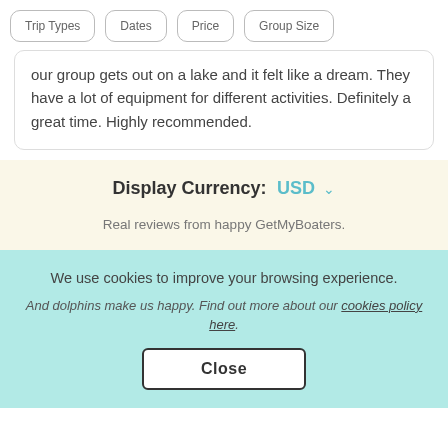Trip Types  Dates  Price  Group Size
our group gets out on a lake and it felt like a dream. They have a lot of equipment for different activities. Definitely a great time. Highly recommended.
Display Currency: USD
Real reviews from happy GetMyBoaters.
We use cookies to improve your browsing experience. And dolphins make us happy. Find out more about our cookies policy here.
Close